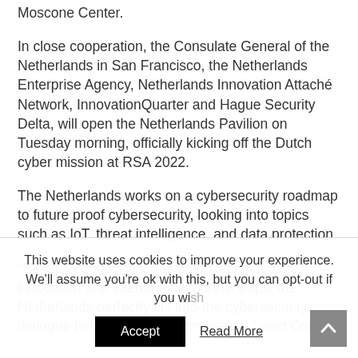Moscone Center.
In close cooperation, the Consulate General of the Netherlands in San Francisco, the Netherlands Enterprise Agency, Netherlands Innovation Attaché Network, InnovationQuarter and Hague Security Delta, will open the Netherlands Pavilion on Tuesday morning, officially kicking off the Dutch cyber mission at RSA 2022.
The Netherlands works on a cybersecurity roadmap to future proof cybersecurity, looking into topics such as IoT, threat intelligence, and data protection.
“Being a country that thrives on technological innovation and international partnerships, the Netherlands perfectly fits into the cybersecurity dialogue held at the RSA Conference,” said Consul
This website uses cookies to improve your experience. We'll assume you're ok with this, but you can opt-out if you wish.